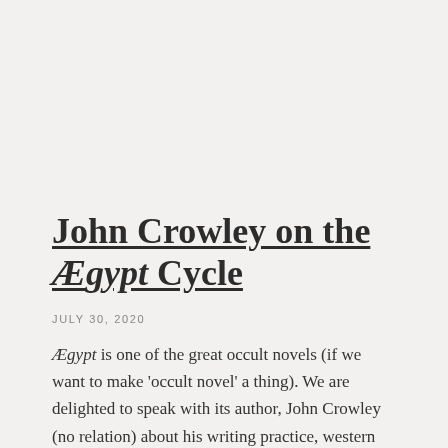John Crowley on the Ægypt Cycle
JULY 30, 2020
Ægypt is one of the great occult novels (if we want to make 'occult novel' a thing). We are delighted to speak with its author, John Crowley (no relation) about his writing practice, western esotericism, and the